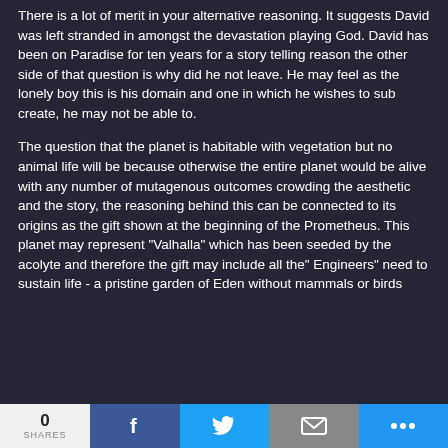There is a lot of merit in your alternative reasoning. It suggests David was left stranded in amongst the devastation playing God. David has been on Paradise for ten years for a story telling reason the other side of that question is why did he not leave. He may feel as the lonely boy this is his domain and one in which he wishes to sub create, he may not be able to.
The question that the planet is habitable with vegetation but no animal life will be because otherwise the entire planet would be alive with any number of mutagenous outcomes crowding the aesthetic and the story, the reasoning behind this can be connected to its origins as the gift shown at the beginning of the Prometheus. This planet may represent "Valhalla" which has been seeded by the acolyte and therefore the gift may include all the" Engineers" need to sustain life - a pristine garden of Eden without mammals or birds